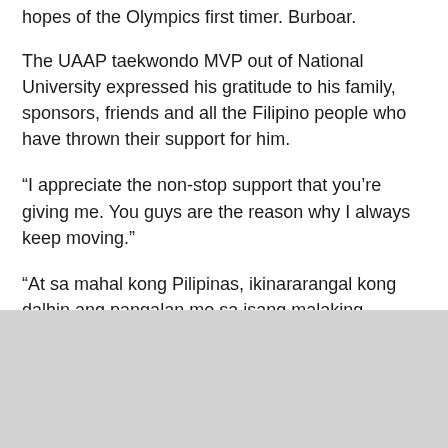hopes of the Olympics first timer. Burboar.
The UAAP taekwondo MVP out of National University expressed his gratitude to his family, sponsors, friends and all the Filipino people who have thrown their support for him.
“I appreciate the non-stop support that you’re giving me. You guys are the reason why I always keep moving.”
“At sa mahal kong Pilipinas, ikinararangal kong dalhin ang pangalan mo sa isang malaking patimpalak, hanggang sa muli. HINDI AKO SUSUKO. Salamat mga kababayan, babawi tayo, tiwala lang.”